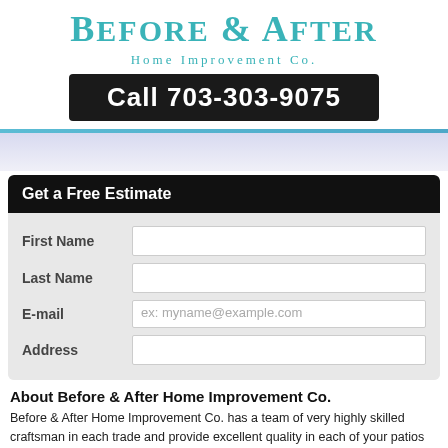Before & After Home Improvement Co.
Call 703-303-9075
Get a Free Estimate
First Name
Last Name
E-mail
Address
About Before & After Home Improvement Co.
Before & After Home Improvement Co. has a team of very highly skilled craftsman in each trade and provide excellent quality in each of your patios needs. We care about the homeowner. Before & After Home Improvement Co. has had nothing but positive reviews on all of our patios services. We complete all jobs in a quick amount of time, and are very